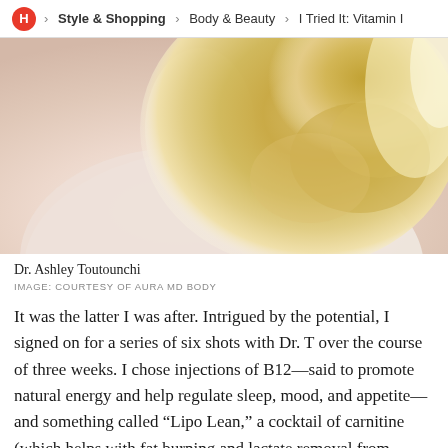H > Style & Shopping > Body & Beauty > I Tried It: Vitamin I
[Figure (photo): Close-up photo of a woman with blonde curly hair wearing a light/cream colored outfit, from shoulders up]
Dr. Ashley Toutounchi
IMAGE: COURTESY OF AURA MD BODY
It was the latter I was after. Intrigued by the potential, I signed on for a series of six shots with Dr. T over the course of three weeks. I chose injections of B12—said to promote natural energy and help regulate sleep, mood, and appetite—and something called “Lipo Lean,” a cocktail of carnitine (which helps with fat burning and lactate removal from muscles) and vitamins B1 and B5 for